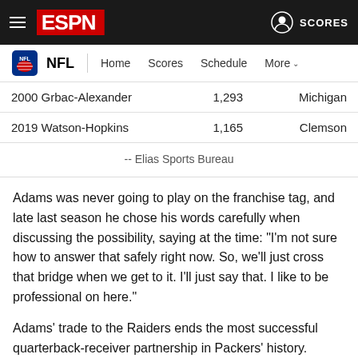ESPN NFL Navigation
| Year/Duo | Yards | School |
| --- | --- | --- |
| 2000 Grbac-Alexander | 1,293 | Michigan |
| 2019 Watson-Hopkins | 1,165 | Clemson |
-- Elias Sports Bureau
Adams was never going to play on the franchise tag, and late last season he chose his words carefully when discussing the possibility, saying at the time: "I'm not sure how to answer that safely right now. So, we'll just cross that bridge when we get to it. I'll just say that. I like to be professional on here."
Adams' trade to the Raiders ends the most successful quarterback-receiver partnership in Packers' history. Rodgers and Adams own the Packers' record for most career